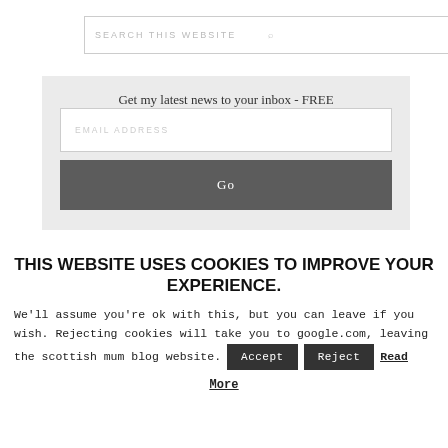[Figure (screenshot): Search box with placeholder 'SEARCH THIS WEBSITE' and a search icon on the right]
Get my latest news to your inbox - FREE
[Figure (screenshot): Email address input field with placeholder 'EMAIL ADDRESS' and a dark 'Go' button below]
THIS WEBSITE USES COOKIES TO IMPROVE YOUR EXPERIENCE.
We'll assume you're ok with this, but you can leave if you wish. Rejecting cookies will take you to google.com, leaving the scottish mum blog website.
Accept  Reject  Read More